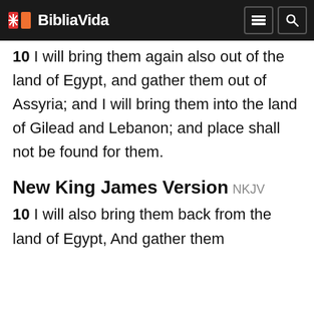BibliaVida
10 I will bring them again also out of the land of Egypt, and gather them out of Assyria; and I will bring them into the land of Gilead and Lebanon; and place shall not be found for them.
New King James Version NKJV
10 I will also bring them back from the land of Egypt, And gather them